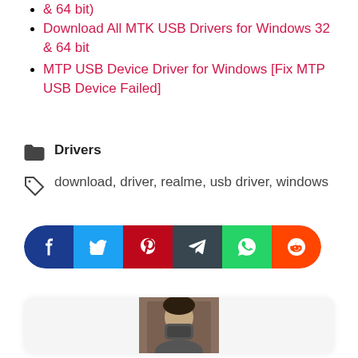& 64 bit)
Download All MTK USB Drivers for Windows 32 & 64 bit
MTP USB Device Driver for Windows [Fix MTP USB Device Failed]
Drivers
download, driver, realme, usb driver, windows
[Figure (infographic): Social share buttons row: Facebook (dark blue), Twitter (light blue), Pinterest (dark red), Telegram (dark grey), WhatsApp (green), Reddit (orange)]
[Figure (photo): Author profile photo showing a person wearing a face mask]